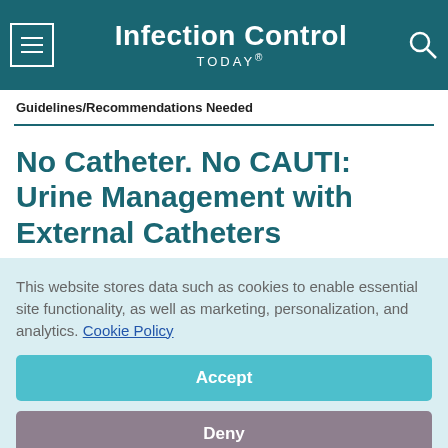Infection Control TODAY®
Guidelines/Recommendations Needed
No Catheter. No CAUTI: Urine Management with External Catheters
This website stores data such as cookies to enable essential site functionality, as well as marketing, personalization, and analytics. Cookie Policy
Accept
Deny